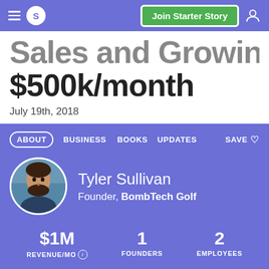S | Join Starter Story
…Sales and Growing To $500k/month
July 19th, 2018
ABOUT  BUSINESS  BOOKS  UPDATES  SAVE
Tyler Sullivan
Founder, BombTech Golf
$1M REVENUE/MO  1 FOUNDERS  2 EMPLOYEES